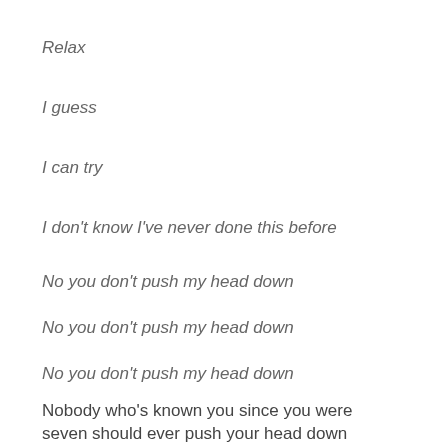Relax
I guess
I can try
I don't know I've never done this before
No you don't push my head down
No you don't push my head down
No you don't push my head down
Nobody who's known you since you were seven should ever push your head down